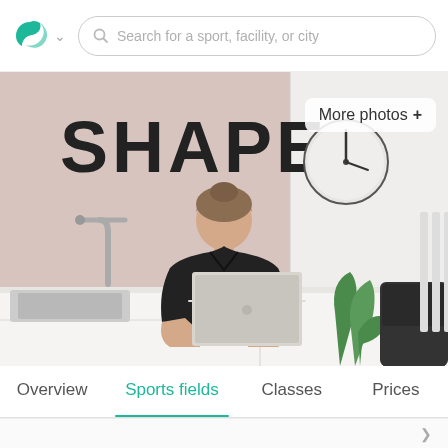[Figure (screenshot): Navigation bar with teal swirl logo, dropdown chevron, and search bar placeholder 'Search for a sport, facility, or city']
[Figure (photo): Interior photo of a fitness facility reception area. A woman in a black top sits at a white counter with a laptop. Behind her is a dusty pink wall with large black letters spelling 'SHAPE'. A kitchen faucet and sink are visible on the left. A clock hangs on the white wall on the right. A plant and black chair are on the right side.]
More photos +
Overview
Sports fields
Classes
Prices